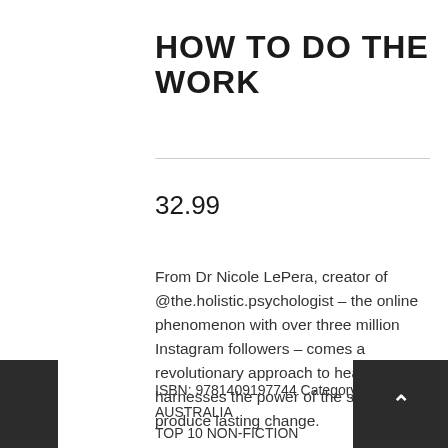HOW TO DO THE WORK
32.99
From Dr Nicole LePera, creator of @the.holistic.psychologist – the online phenomenon with over three million Instagram followers – comes a revolutionary approach to healing that harnesses the power of the self to produce lasting change.
ISBN: 9781409197744 Category: AUSTRALIA TOP 10 NON-FICTION